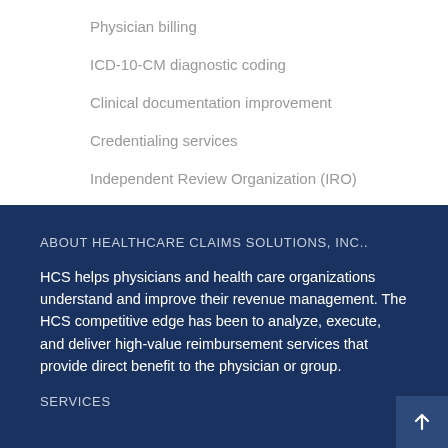Physician billing
ICD-10-CM diagnostic coding
Clinical documentation improvement
Credentialing services
Independent Review Organization (IRO)
ABOUT HEALTHCARE CLAIMS SOLUTIONS, INC..
HCS helps physicians and health care organizations understand and improve their revenue management. The HCS competitive edge has been to analyze, execute, and deliver high-value reimbursement services that provide direct benefit to the physician or group.
SERVICES